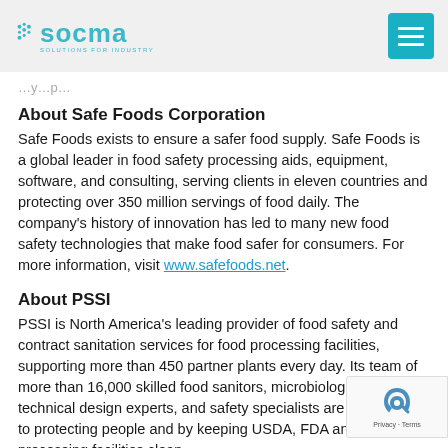socma — solutions for industry
…y…p…
About Safe Foods Corporation
Safe Foods exists to ensure a safer food supply. Safe Foods is a global leader in food safety processing aids, equipment, software, and consulting, serving clients in eleven countries and protecting over 350 million servings of food daily. The company's history of innovation has led to many new food safety technologies that make food safer for consumers. For more information, visit www.safefoods.net.
About PSSI
PSSI is North America's leading provider of food safety and contract sanitation services for food processing facilities, supporting more than 450 partner plants every day. Its team of more than 16,000 skilled food sanitors, microbiologists, technical design experts, and safety specialists are committed to protecting people and by keeping USDA, FDA and CFIA processing facilities clean,